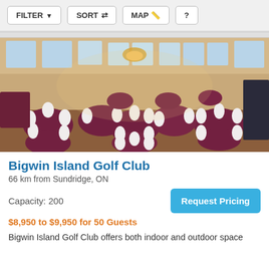FILTER  SORT  MAP  ?
[Figure (photo): Interior of Bigwin Island Golf Club banquet hall set up for a wedding reception with round tables covered in dark red/maroon tablecloths and white chair covers, high ceilings with tall windows, and warm lighting.]
Bigwin Island Golf Club
66 km from Sundridge, ON
Capacity: 200
Request Pricing
$8,950 to $9,950 for 50 Guests
Bigwin Island Golf Club offers both indoor and outdoor space